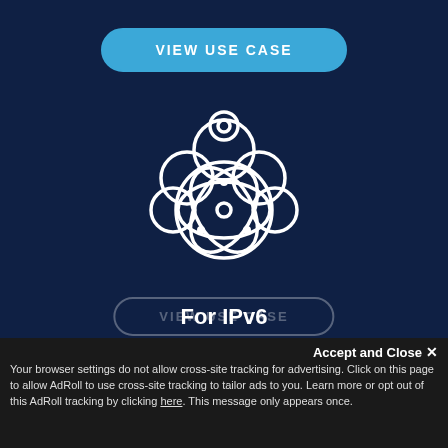[Figure (illustration): Blue rounded rectangle button labeled VIEW USE CASE with a light blue background and white text]
[Figure (illustration): White line icon depicting a network/atom-like symbol overlaid on a cloud shape, representing IPv6 networking]
For IPv6
IPv6 native since 2008, our anycast platform allows direct packet-level access with IPv4, IPv6, or both.
Accept and Close ✕
Your browser settings do not allow cross-site tracking for advertising. Click on this page to allow AdRoll to use cross-site tracking to tailor ads to you. Learn more or opt out of this AdRoll tracking by clicking here. This message only appears once.